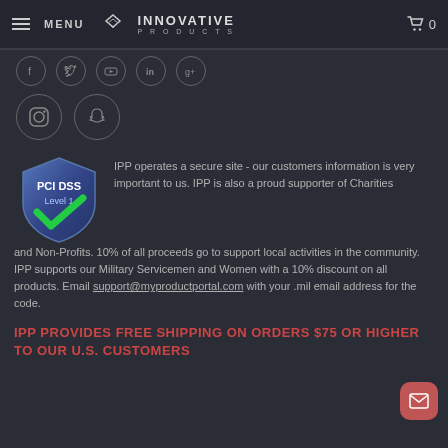MENU | INNOVATIVE PRODUCTS | Cart 0
[Figure (illustration): Social media icons row: Facebook, Twitter, Youtube, LinkedIn, Google Plus]
[Figure (illustration): Social media icons row: Instagram, Snapchat]
[Figure (logo): PCI DSS Level 1 badge with green checkmark]
IPP operates a secure site - our customers information is very important to us.  IPP is also a proud supporter of Charities and Non-Profits. 10% of all proceeds go to support local activities in the community.  IPP supports our Military Servicemen and Women with a 10% discount on all products.  Email support@myproductportal.com with your .mil email address for the code.
IPP PROVIDES FREE SHIPPING ON ORDERS $75 OR HIGHER TO OUR U.S. CUSTOMERS